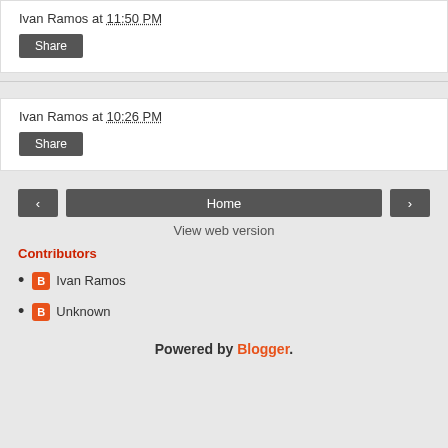Ivan Ramos at 11:50 PM
Share
Ivan Ramos at 10:26 PM
Share
< Home >
View web version
Contributors
Ivan Ramos
Unknown
Powered by Blogger.